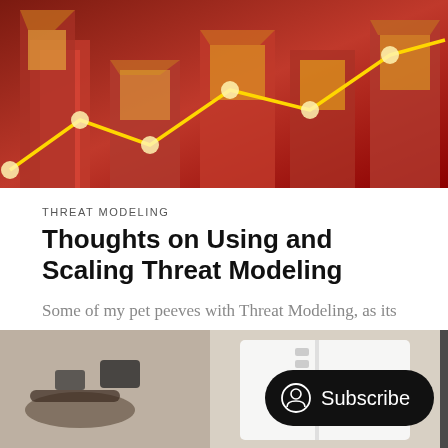[Figure (illustration): Abstract red and gold bar chart / stock market graphic with glowing line chart overlay on red background]
THREAT MODELING
Thoughts on Using and Scaling Threat Modeling
Some of my pet peeves with Threat Modeling, as its currently done by a lot of orgs out there: Threat Models are generated as tomes, rarely used by the people who need to be using it…
Abhay Bhargav
Oct 22, 2019 • 2 min read
[Figure (photo): Flatlay photo of assorted items including cables, devices, clothing on a surface]
[Figure (other): Subscribe button overlay with person icon]